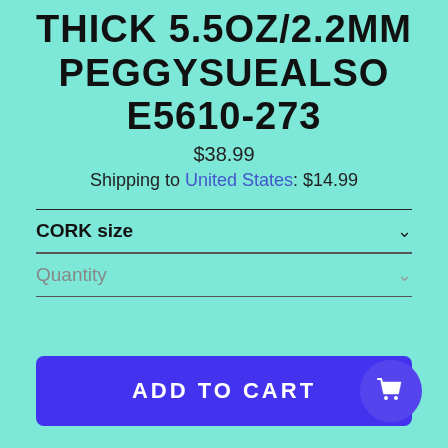THICK 5.5OZ/2.2MM PEGGYSUEALSO E5610-273
$38.99
Shipping to United States: $14.99
CORK size
Quantity
ADD TO CART